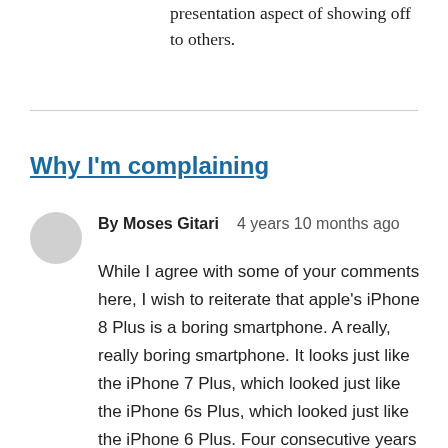presentation aspect of showing off to others.
Why I'm complaining
By Moses Gitari   4 years 10 months ago
While I agree with some of your comments here, I wish to reiterate that apple's iPhone 8 Plus is a boring smartphone. A really, really boring smartphone. It looks just like the iPhone 7 Plus, which looked just like the iPhone 6s Plus, which looked just like the iPhone 6 Plus. Four consecutive years with the same smartphone design is about two years too many. New features have been added along the way, and of course there have been dramatic